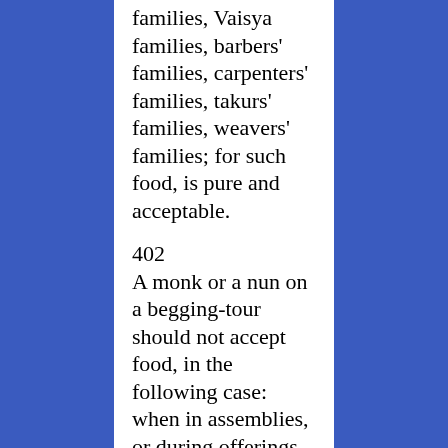families, Vaisya families, barbers' families, carpenters' families, takurs' families, weavers' families; for such food, is pure and acceptable.
402
A monk or a nun on a begging-tour should not accept food, in the following case: when in assemblies, or during offerings to the manes, or on a festival of Indra or Skanda or Rudra or Mukunda or